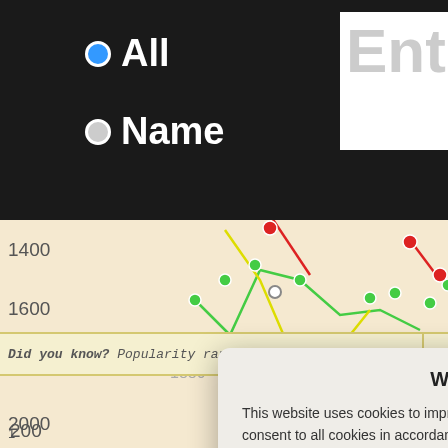[Figure (screenshot): Website screenshot showing a name popularity chart with multiple colored lines (green, yellow, red) plotted over years 1880-2003, with y-axis values from 200 to 2000, overlaid by a cookie consent dialog]
All
Name
We use cookies
This website uses cookies to improve user experience. By using our website you consent to all cookies in accordance with our Cookie Policy.
Yes I agree
I disagree
Read more
Did you know? Popularity rank as birth na
Free cookie consent by cookie-script.com